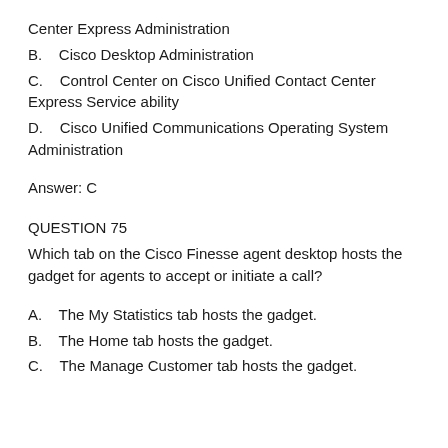Center Express Administration
B.    Cisco Desktop Administration
C.    Control Center on Cisco Unified Contact Center Express Service ability
D.    Cisco Unified Communications Operating System Administration
Answer: C
QUESTION 75
Which tab on the Cisco Finesse agent desktop hosts the gadget for agents to accept or initiate a call?
A.    The My Statistics tab hosts the gadget.
B.    The Home tab hosts the gadget.
C.    The Manage Customer tab hosts the gadget.